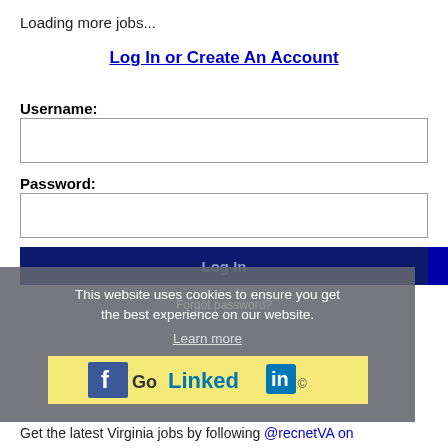Loading more jobs...
Log In or Create An Account
Username:
Password:
Log In
This website uses cookies to ensure you get the best experience on our website.
Learn more
[Figure (screenshot): LinkedIn Go button with Facebook-style icon on yellow background]
Forgot password?
Get the latest Virginia jobs by following @recnetVA on